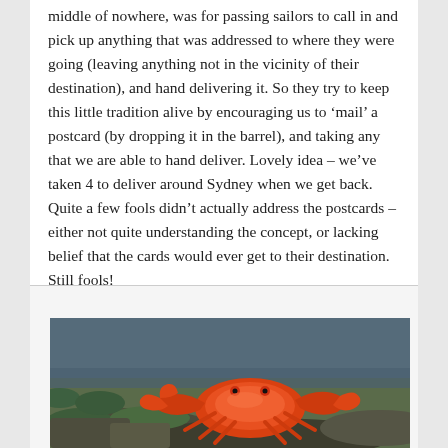middle of nowhere, was for passing sailors to call in and pick up anything that was addressed to where they were going (leaving anything not in the vicinity of their destination), and hand delivering it. So they try to keep this little tradition alive by encouraging us to 'mail' a postcard (by dropping it in the barrel), and taking any that we are able to hand deliver. Lovely idea – we've taken 4 to deliver around Sydney when we get back. Quite a few fools didn't actually address the postcards – either not quite understanding the concept, or lacking belief that the cards would ever get to their destination. Still fools!
[Figure (photo): A red/orange crab on rocky terrain]